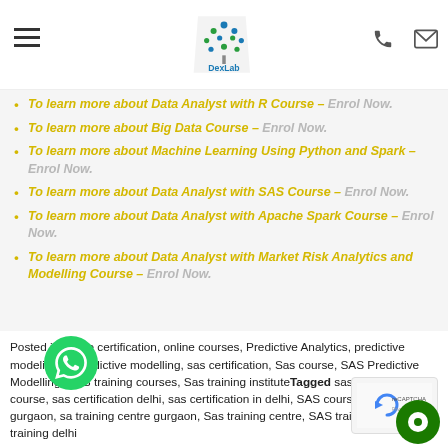DexLab
To learn more about Data Analyst with R Course – Enrol Now.
To learn more about Big Data Course – Enrol Now.
To learn more about Machine Learning Using Python and Spark – Enrol Now.
To learn more about Data Analyst with SAS Course – Enrol Now.
To learn more about Data Analyst with Apache Spark Course – Enrol Now.
To learn more about Data Analyst with Market Risk Analytics and Modelling Course – Enrol Now.
Posted in online certification, online courses, Predictive Analytics, predictive modeling, R predictive modelling, sas certification, Sas course, SAS Predictive Modelling, SAS training courses, Sas training instituteTagged sas analytics course, sas certification delhi, sas certification in delhi, SAS courses in Noida, sas gurgaon, sas training centre gurgaon, Sas training centre, SAS training courses, sas training delhi